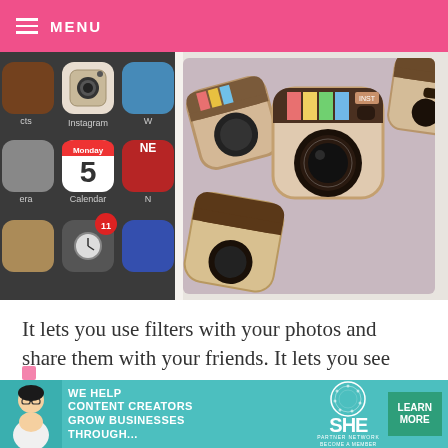MENU
[Figure (photo): iPhone screen showing app grid with Instagram icon and Calendar showing Monday 5, with badge notification showing 11]
[Figure (photo): Cookies decorated to look like Instagram camera app icons, with brown chocolate top and rainbow stripe detail]
It lets you use filters with your photos and share them with your friends. It lets you see what they see. In an instant.
[Figure (infographic): Advertisement banner: WE HELP CONTENT CREATORS GROW BUSINESSES THROUGH... with SHE Media Partner Network logo and LEARN MORE button]